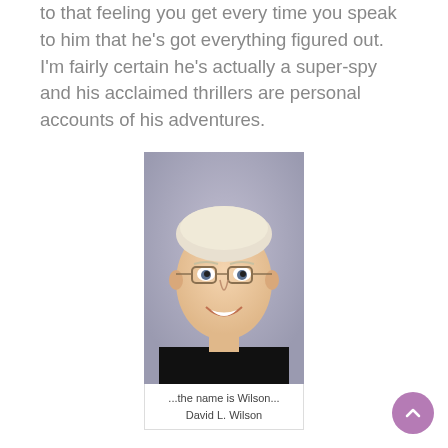to that feeling you get every time you speak to him that he's got everything figured out. I'm fairly certain he's actually a super-spy and his acclaimed thrillers are personal accounts of his adventures.
[Figure (photo): Portrait photo of an older man with white/blonde hair, glasses, wearing a black shirt, smiling, with a grey/purple studio background]
...the name is Wilson... David L. Wilson